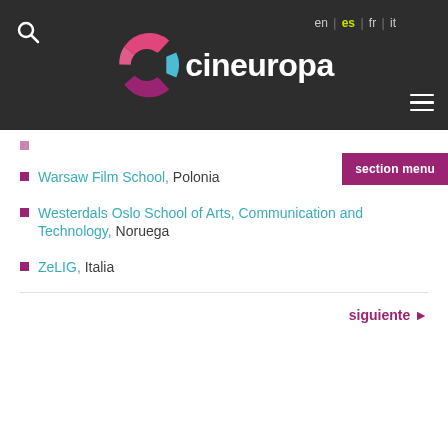[Figure (logo): Cineuropa website header with logo, language selector (en|es|fr|it), search icon, hamburger menu, and section menu button]
Warsaw Film School, Polonia
Westerdals Oslo School of Arts, Communication and Technology, Noruega
ZeLIG, Italia
siguiente ▶